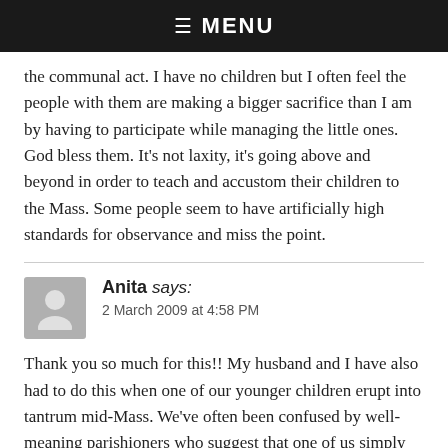☰ MENU
the communal act. I have no children but I often feel the people with them are making a bigger sacrifice than I am by having to participate while managing the little ones. God bless them. It's not laxity, it's going above and beyond in order to teach and accustom their children to the Mass. Some people seem to have artificially high standards for observance and miss the point.
Anita says:
2 March 2009 at 4:58 PM
Thank you so much for this!! My husband and I have also had to do this when one of our younger children erupt into tantrum mid-Mass. We've often been confused by well-meaning parishioners who suggest that one of us simply stay home with the children while the other attends Mass to avoid this. Uhm… But wouldn't that mean one of us is missing Mass altogether?